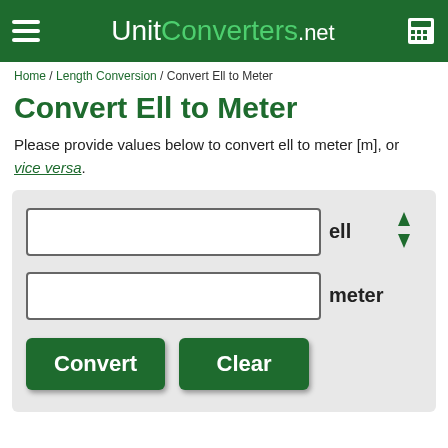UnitConverters.net
Home / Length Conversion / Convert Ell to Meter
Convert Ell to Meter
Please provide values below to convert ell to meter [m], or vice versa.
[Figure (screenshot): Unit converter form with two input fields labeled 'ell' and 'meter', a swap arrows icon, and Convert and Clear buttons on a light gray background.]